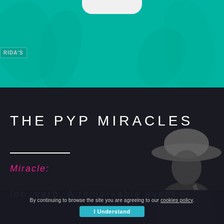[Figure (photo): Top section with teal/green overlay showing foliage background behind a mobile phone interface. A sign partially visible on the left reads 'RIDA'S'. Phone notch visible at top center.]
THE PYP MIRACLES
Miracle:
loc. verb. A remarkable event or
By continuing to browse the site you are agreeing to our cookies policy.
I Understand